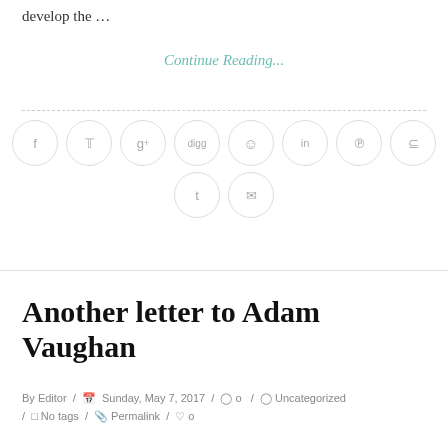develop the …
Continue Reading...
[Figure (other): Social media sharing icon circles: facebook, twitter, google+, digg, reddit, linkedin, pinterest, stumbleupon, tumblr, email]
Another letter to Adam Vaughan
By Editor / Sunday, May 7, 2017 / 0 / Uncategorized / No tags / Permalink / 0